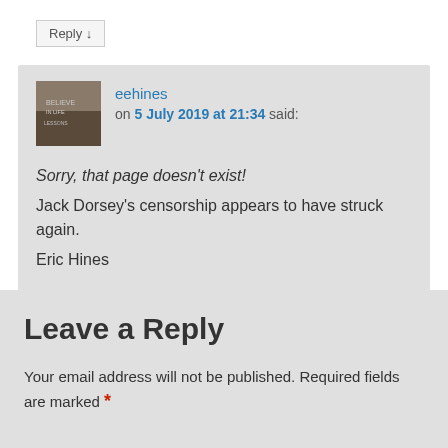Reply ↓
eehines on 5 July 2019 at 21:34 said:
Sorry, that page doesn't exist! Jack Dorsey's censorship appears to have struck again. Eric Hines
Reply ↓
Leave a Reply
Your email address will not be published. Required fields are marked *